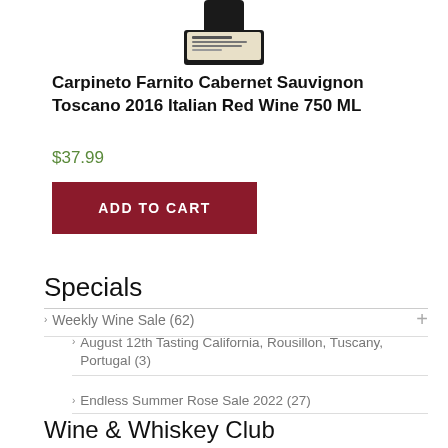[Figure (photo): Top portion of a wine bottle with dark label showing 'Carpineto' branding]
Carpineto Farnito Cabernet Sauvignon Toscano 2016 Italian Red Wine 750 ML
$37.99
ADD TO CART
Specials
Weekly Wine Sale (62)
August 12th Tasting California, Rousillon, Tuscany, Portugal (3)
Endless Summer Rose Sale 2022 (27)
Wine & Whiskey Club
Mora's Whiskey Clubs (2)